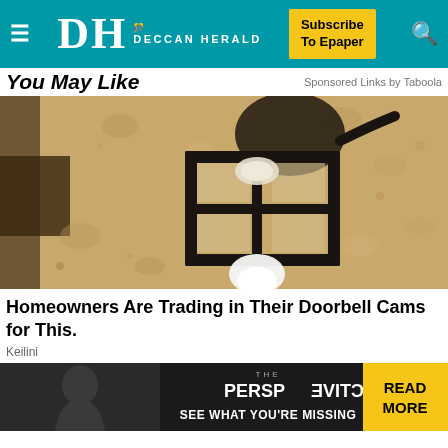Deccan Herald — Subscribe To Epaper
You May Like — Sponsored Links by Taboola
[Figure (photo): Outdoor wall lantern/light fixture mounted on a textured stucco wall, with a white bulb visible at the bottom]
Homeowners Are Trading in Their Doorbell Cams for This.
Keilini
[Figure (screenshot): Advertisement banner: The Perspective — See What You're Missing, with READ MORE button in yellow]